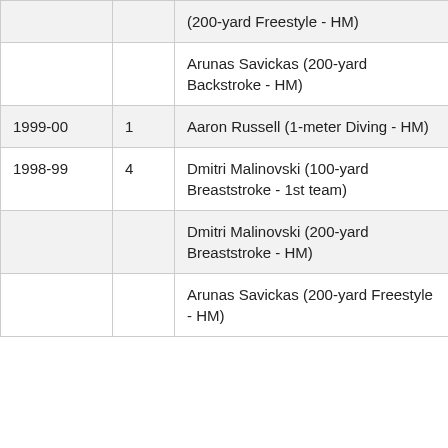| Year | Place | Athlete (Event) |
| --- | --- | --- |
|  |  | (200-yard Freestyle - HM) |
|  |  | Arunas Savickas (200-yard Backstroke - HM) |
| 1999-00 | 1 | Aaron Russell (1-meter Diving - HM) |
| 1998-99 | 4 | Dmitri Malinovski (100-yard Breaststroke - 1st team) |
|  |  | Dmitri Malinovski (200-yard Breaststroke - HM) |
|  |  | Arunas Savickas (200-yard Freestyle - HM) |